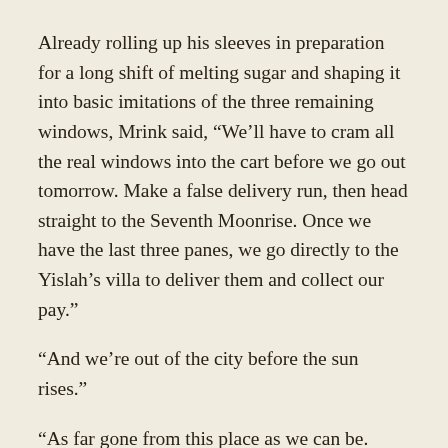Already rolling up his sleeves in preparation for a long shift of melting sugar and shaping it into basic imitations of the three remaining windows, Mrink said, “We’ll have to cram all the real windows into the cart before we go out tomorrow. Make a false delivery run, then head straight to the Seventh Moonrise. Once we have the last three panes, we go directly to the Yislah’s villa to deliver them and collect our pay.”
“And we’re out of the city before the sun rises.”
“As far gone from this place as we can be. Now come help me get started; I have an important errand to run tomorrow morning, so we’ll have to get right to work.”
Mrank stifled a yawn and followed his partner into the workshop. It wouldn’t be the first time they forwent a night of sleep for the sake of their livermore clockwork i